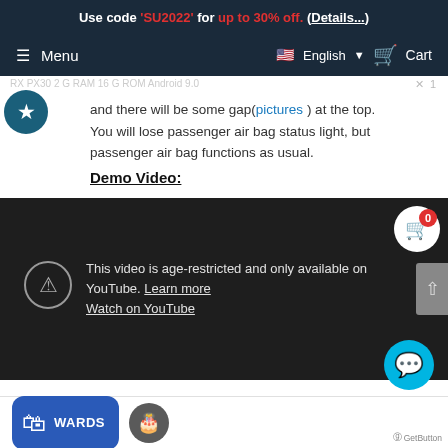Use code 'SU2022' for up to 30% off. (Details...)
Menu  English  Cart
and there will be some gap(pictures) at the top.
You will lose passenger air bag status light, but passenger air bag functions as usual.
Demo Video:
[Figure (screenshot): Embedded YouTube video player showing age-restricted content message: 'This video is age-restricted and only available on YouTube. Learn more. Watch on YouTube']